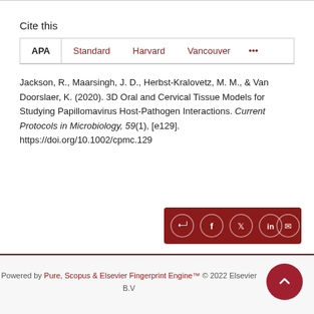Cite this
APA | Standard | Harvard | Vancouver | ...
Jackson, R., Maarsingh, J. D., Herbst-Kralovetz, M. M., & Van Doorslaer, K. (2020). 3D Oral and Cervical Tissue Models for Studying Papillomavirus Host-Pathogen Interactions. Current Protocols in Microbiology, 59(1), [e129]. https://doi.org/10.1002/cpmc.129
Powered by Pure, Scopus & Elsevier Fingerprint Engine™ © 2022 Elsevier B.V